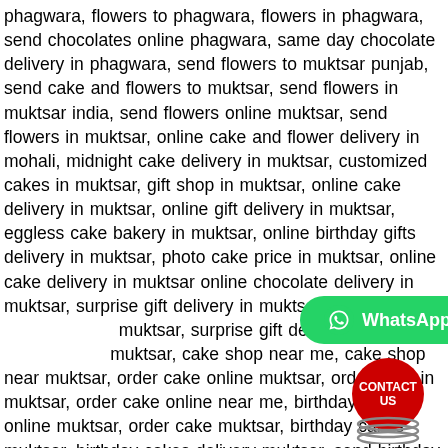phagwara, flowers to phagwara, flowers in phagwara, send chocolates online phagwara, same day chocolate delivery in phagwara, send flowers to muktsar punjab, send cake and flowers to muktsar, send flowers in muktsar india, send flowers online muktsar, send flowers in muktsar, online cake and flower delivery in mohali, midnight cake delivery in muktsar, customized cakes in muktsar, gift shop in muktsar, online cake delivery in muktsar, online gift delivery in muktsar, eggless cake bakery in muktsar, online birthday gifts delivery in muktsar, photo cake price in muktsar, online cake delivery in muktsar online chocolate delivery in muktsar, surprise gift delivery in muktsar, online cake gift delivery in muktsar, surprise gift delivery in muktsar, cake shop in muktsar, cake shop near me, cake shop near muktsar, order cake online muktsar, order cake in muktsar, order cake online near me, birthday cake online muktsar, order cake muktsar, birthday cakes muktsar, birthday cakes delivery muktsar, send birthday cake to muktsar india order cakes online in muktsar, cake order in muktsar, birthday cakes in muktsar, order cake online muktsar, birthday cake online muktsar, send flowers to muktsar, flowers native to muktsar, send flowers to muktsar, send flowers to muktsar india, online birthday gift delivery in muktsar, buy cake online in muktsar, online gift shop in muktsar, top cake shops in muktsar, cake delivery in muktsar, cartoon cakes online muktsar, cake in
[Figure (other): WhatsApp Chat button - green rounded rectangle with WhatsApp icon and text 'WhatsApp Chat']
[Figure (other): Contact Us button - red circle with 'CONTACT US' text on a spring/coil base]